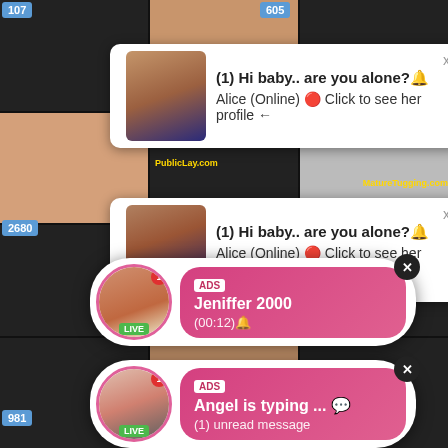[Figure (screenshot): Adult content website screenshot with notification popups and messenger-style ads. Shows two white rectangular popups with text '(1) Hi baby.. are you alone?' from Alice (Online), and two pink rounded messenger notifications - one from Jeniffer 2000 (LIVE, 00:12) and one from Angel (LIVE, is typing..., 1 unread message). Background shows video thumbnails with counters 107, 605, 2680, 147, 981. Watermarks: PublicLay.com and MatureTugging.com]